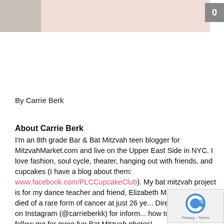[Figure (photo): Top portion of a photo: left section shows a dark/grey area, right section shows a light pink background. Partial image cut off at the top of the page.]
By Carrie Berk
About Carrie Berk
I'm an 8th grade Bar & Bat Mitzvah teen blogger for MitzvahMarket.com and live on the Upper East Side in NYC. I love fashion, soul cycle, theater, hanging out with friends, and cupcakes (I have a blog about them: www.facebook.com/PLCCupcakeClub). My bat mitzvah project is for my dance teacher and friend, Elizabeth Maria Walsh, who died of a rare form of cancer at just 26 ye... Direct message me on Instagram (@carrieberkk) for inform... how to donate, and follow me for more fun Bat Mitzvah photos!